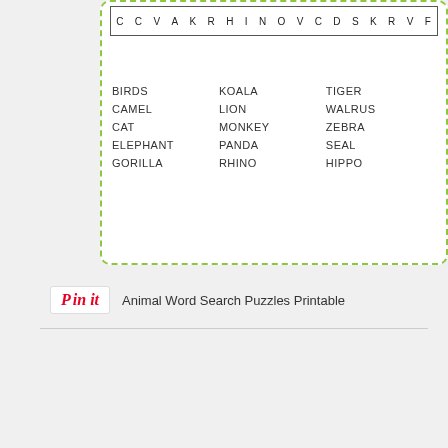[Figure (other): Animal word search puzzle with a row of letters at top and a word list below in three columns: BIRDS, CAMEL, CAT, ELEPHANT, GORILLA / KOALA, LION, MONKEY, PANDA, RHINO / TIGER, WALRUS, ZEBRA, SEAL, HIPPO. Green dashed border.]
Pin it   Animal Word Search Puzzles Printable
[Figure (other): A worksheet titled WHAT IT SAYS? with yellow background title banner. Shows three cells: cell 1 dark background with 'another' and 'one thing', cell 2 with italic 'heart', cell 3 with 'But thought' and 'thought'.]